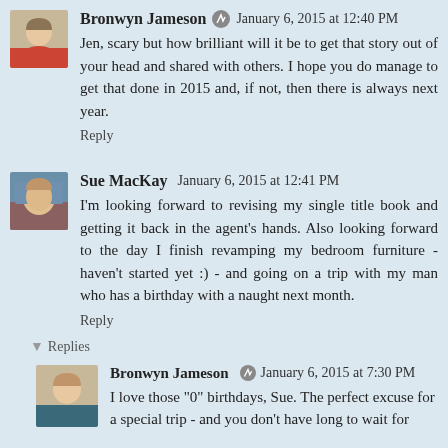Bronwyn Jameson  January 6, 2015 at 12:40 PM
Jen, scary but how brilliant will it be to get that story out of your head and shared with others. I hope you do manage to get that done in 2015 and, if not, then there is always next year.
Reply
Sue MacKay  January 6, 2015 at 12:41 PM
I'm looking forward to revising my single title book and getting it back in the agent's hands. Also looking forward to the day I finish revamping my bedroom furniture - haven't started yet :) - and going on a trip with my man who has a birthday with a naught next month.
Reply
Replies
Bronwyn Jameson  January 6, 2015 at 7:30 PM
I love those "0" birthdays, Sue. The perfect excuse for a special trip - and you don't have long to wait for